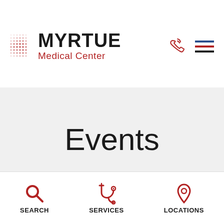[Figure (logo): Myrtue Medical Center logo with red dot grid pattern and text]
Events
Search Events
SEARCH  SERVICES  LOCATIONS